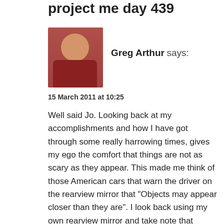project me day 439
[Figure (photo): Profile photo of Greg Arthur, a bald man in a dark red/maroon shirt, seated.]
Greg Arthur says:
15 March 2011 at 10:25
Well said Jo. Looking back at my accomplishments and how I have got through some really harrowing times, gives my ego the comfort that things are not as scary as they appear. This made me think of those American cars that warn the driver on the rearview mirror that "Objects may appear closer than they are". I look back using my own rearview mirror and take note that "Things may appear scarier than they are". Then, once my ego has calmed down I ask that question, "What's the worst that can happen?", and realise that all past experiences